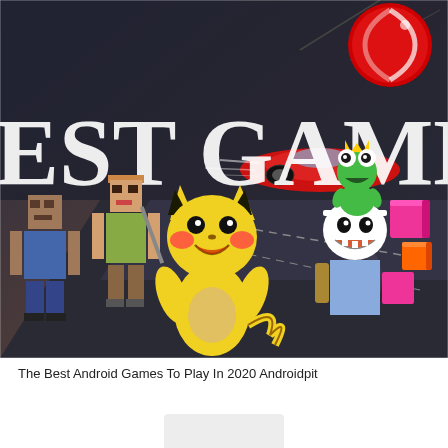[Figure (illustration): Collage image titled 'BEST GAMES' showing various Android game characters including Minecraft characters (Steve and Alex), Pikachu from Pokemon, Finn from Adventure Time, Om Nom from Cut the Rope, a lollipop candy icon, a racing game car on a track, and colorful 3D block shapes on a dark dramatic background.]
The Best Android Games To Play In 2020 Androidpit